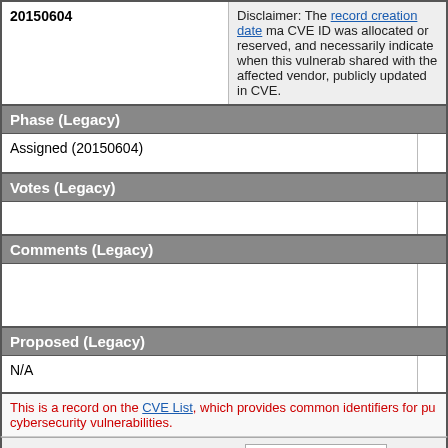| 20150604 | Disclaimer |
| --- | --- |
| 20150604 | Disclaimer: The record creation date may indicate when the CVE ID was allocated or reserved, and does not necessarily indicate when this vulnerability was shared with the affected vendor, publicly disclosed, or updated in CVE. |
Phase (Legacy)
| Assigned (20150604) |  |
Votes (Legacy)
|  |  |
Comments (Legacy)
|  |  |
Proposed (Legacy)
| N/A |  |
This is a record on the CVE List, which provides common identifiers for publicly known cybersecurity vulnerabilities.
SEARCH CVE USING KEYWORDS: You can also search by reference using the CVE Reference Maps.
For More Information: CVE Request Web Form (select "Other"
BACK TO TOP